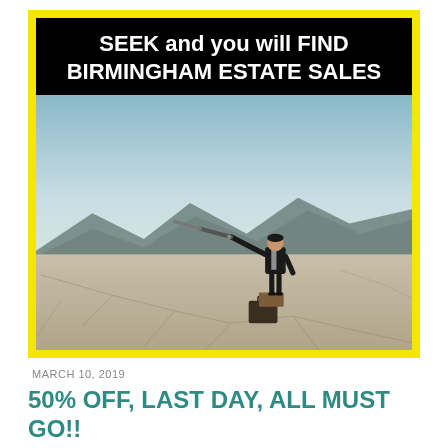[Figure (illustration): Advertisement card with yellow border. Top black banner reads 'SEEK and you will FIND BIRMINGHAM ESTATE SALES' in white bold text. Below is a photo of a man in a suit standing on a box in a cracked desert salt flat, holding a telescope/spyglass to his eye, with mountains in the background and a suitcase beside him.]
MARCH 10, 2019
50% OFF, LAST DAY, ALL MUST GO!! BIRMINGHAM ESTATE SALES is in VESTAVIA for 2 days! Join us!